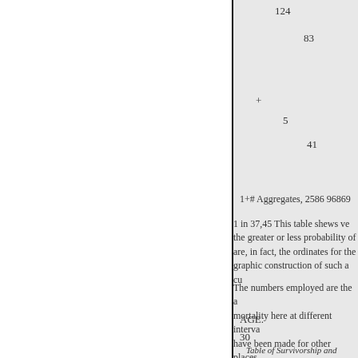124
83
+
5
41
1+# Aggregates, 2586 96869
1 in 37,45 This table shews ve the greater or less probability of are, in fact, the ordinates for the graphic construction of such a cu
The numbers employed are the a mortality here at different interva have been made for other places.
AGE.
30
Table of Survivorship and